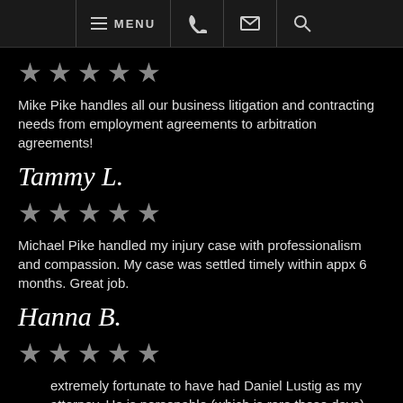MENU [phone] [email] [search]
[Figure (other): 5 grey star rating]
Mike Pike handles all our business litigation and contracting needs from employment agreements to arbitration agreements!
Tammy L.
[Figure (other): 5 grey star rating]
Michael Pike handled my injury case with professionalism and compassion. My case was settled timely within appx 6 months. Great job.
Hanna B.
[Figure (other): 5 grey star rating]
extremely fortunate to have had Daniel Lustig as my attorney. He is personable (which is rare these days) and his communication with me throughout the process was prompt and